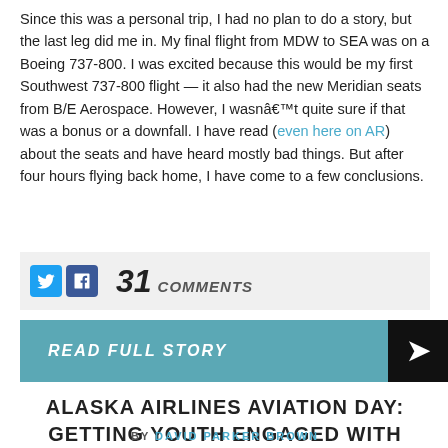Since this was a personal trip, I had no plan to do a story, but the last leg did me in. My final flight from MDW to SEA was on a Boeing 737-800. I was excited because this would be my first Southwest 737-800 flight — it also had the new Meridian seats from B/E Aerospace. However, I wasn't quite sure if that was a bonus or a downfall. I have read (even here on AR) about the seats and have heard mostly bad things. But after four hours flying back home, I have come to a few conclusions.
31 COMMENTS
READ FULL STORY
ALASKA AIRLINES AVIATION DAY: GETTING YOUTH ENGAGED WITH AVIATION
BY DAVID PARKER BROWN